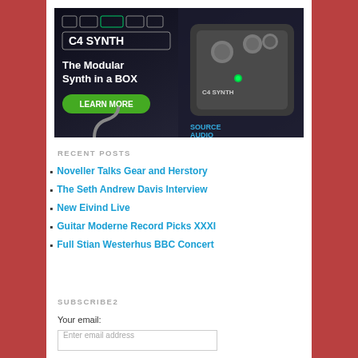[Figure (photo): C4 Synth advertisement banner by Source Audio. Shows a guitar pedal (C4 Synth) with text 'The Modular Synth in a BOX' and a 'LEARN MORE' button. Source Audio logo in bottom right.]
RECENT POSTS
Noveller Talks Gear and Herstory
The Seth Andrew Davis Interview
New Eivind Live
Guitar Moderne Record Picks XXXI
Full Stian Westerhus BBC Concert
SUBSCRIBE2
Your email:
Enter email address